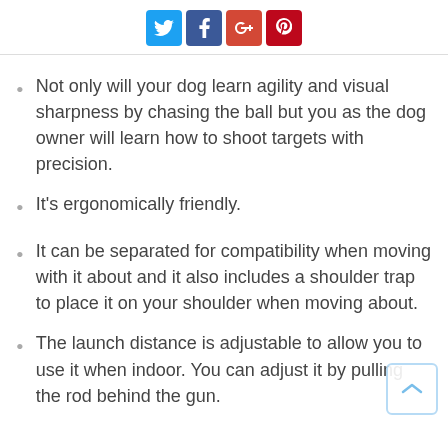Social share icons: Twitter, Facebook, Google+, Pinterest
Not only will your dog learn agility and visual sharpness by chasing the ball but you as the dog owner will learn how to shoot targets with precision.
It’s ergonomically friendly.
It can be separated for compatibility when moving with it about and it also includes a shoulder trap to place it on your shoulder when moving about.
The launch distance is adjustable to allow you to use it when indoor. You can adjust it by pulling the rod behind the gun.